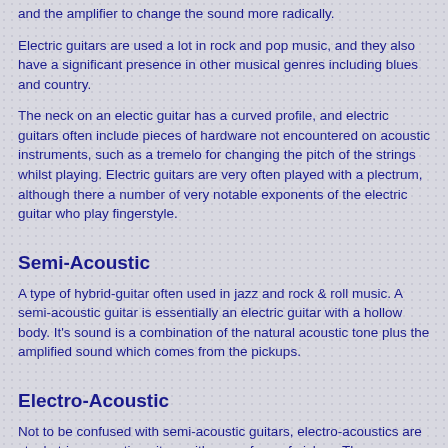and the amplifier to change the sound more radically.
Electric guitars are used a lot in rock and pop music, and they also have a significant presence in other musical genres including blues and country.
The neck on an electic guitar has a curved profile, and electric guitars often include pieces of hardware not encountered on acoustic instruments, such as a tremelo for changing the pitch of the strings whilst playing. Electric guitars are very often played with a plectrum, although there a number of very notable exponents of the electric guitar who play fingerstyle.
Semi-Acoustic
A type of hybrid-guitar often used in jazz and rock & roll music. A semi-acoustic guitar is essentially an electric guitar with a hollow body. It's sound is a combination of the natural acoustic tone plus the amplified sound which comes from the pickups.
Electro-Acoustic
Not to be confused with semi-acoustic guitars, electro-acoustics are steel-string acoustic guitars with some form of pickup. These